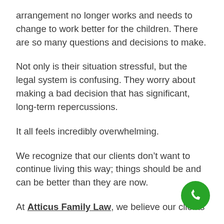arrangement no longer works and needs to change to work better for the children. There are so many questions and decisions to make.
Not only is their situation stressful, but the legal system is confusing. They worry about making a bad decision that has significant, long-term repercussions.
It all feels incredibly overwhelming.
We recognize that our clients don't want to continue living this way; things should be and can be better than they are now.
At Atticus Family Law, we believe our clients